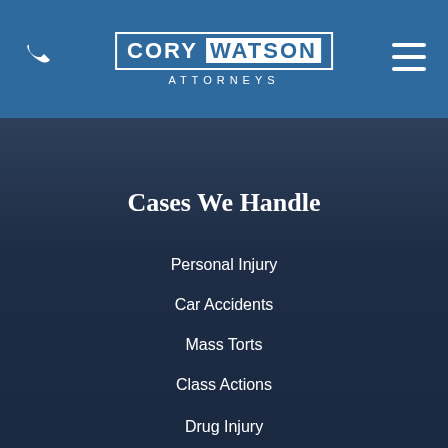CORY WATSON ATTORNEYS
Cases We Handle
Personal Injury
Car Accidents
Mass Torts
Class Actions
Drug Injury
Defective Medical Devices